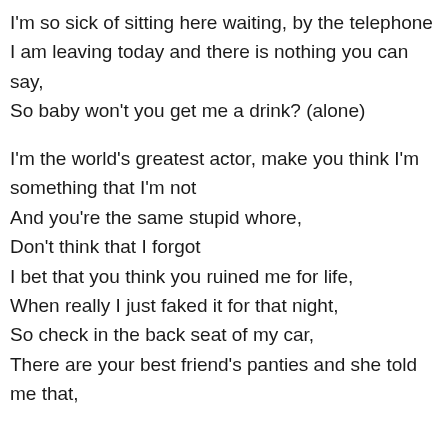I'm so sick of sitting here waiting, by the telephone
I am leaving today and there is nothing you can say,
So baby won't you get me a drink? (alone)
I'm the world's greatest actor, make you think I'm something that I'm not
And you're the same stupid whore,
Don't think that I forgot
I bet that you think you ruined me for life,
When really I just faked it for that night,
So check in the back seat of my car,
There are your best friend's panties and she told me that,